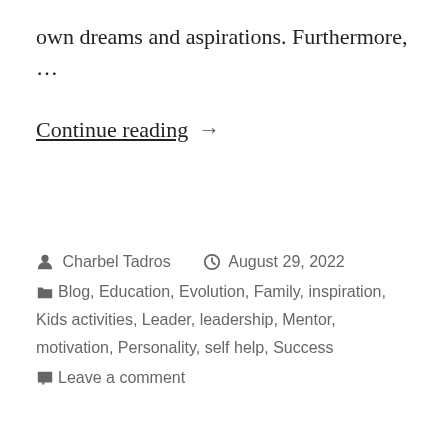own dreams and aspirations. Furthermore, …
Continue reading →
Charbel Tadros   August 29, 2022
Blog, Education, Evolution, Family, inspiration, Kids activities, Leader, leadership, Mentor, motivation, Personality, self help, Success
Leave a comment